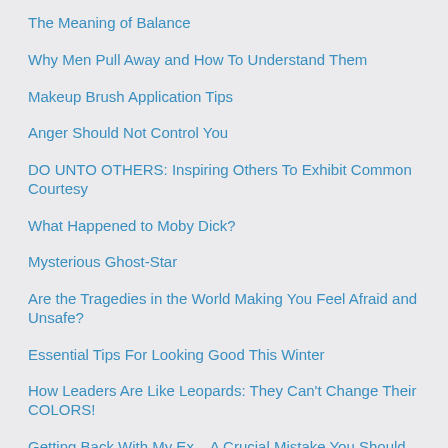The Meaning of Balance
Why Men Pull Away and How To Understand Them
Makeup Brush Application Tips
Anger Should Not Control You
DO UNTO OTHERS: Inspiring Others To Exhibit Common Courtesy
What Happened to Moby Dick?
Mysterious Ghost-Star
Are the Tragedies in the World Making You Feel Afraid and Unsafe?
Essential Tips For Looking Good This Winter
How Leaders Are Like Leopards: They Can't Change Their COLORS!
Getting Back With My Ex – A Crucial Mistake You Should Not Ignore If You Want To Get Your Ex Back!